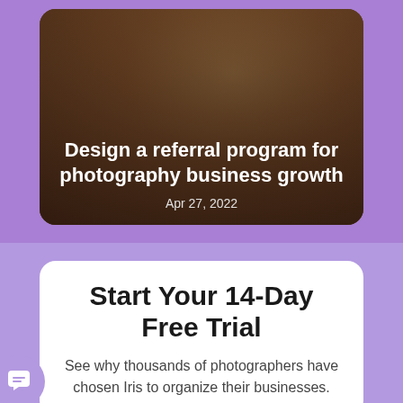[Figure (photo): Card with photo background showing two women, with overlay text about a referral program blog post dated Apr 27, 2022]
Design a referral program for photography business growth
Apr 27, 2022
Start Your 14-Day Free Trial
See why thousands of photographers have chosen Iris to organize their businesses.